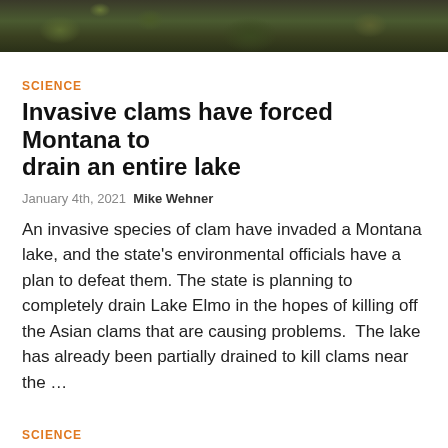[Figure (photo): Natural outdoor scene with green moss and rocks, dark nature background]
SCIENCE
Invasive clams have forced Montana to drain an entire lake
January 4th, 2021  Mike Wehner
An invasive species of clam have invaded a Montana lake, and the state's environmental officials have a plan to defeat them. The state is planning to completely drain Lake Elmo in the hopes of killing off the Asian clams that are causing problems.  The lake has already been partially drained to kill clams near the …
SCIENCE
Watch 'electrofishing' boat
[Figure (photo): Outdoor nature/fishing scene thumbnail image]